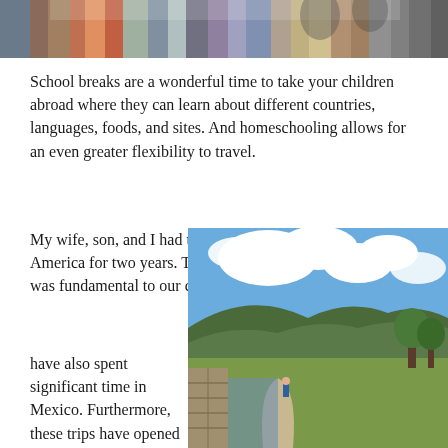[Figure (photo): Partial photo at top of page showing people near colored metal structures or wall]
School breaks are a wonderful time to take your children abroad where they can learn about different countries, languages, foods, and sites. And homeschooling allows for an even greater flexibility to travel.
My wife, son, and I had the opportunity to live in South America for two years. This was an experience that I feel was fundamental to our child's view of the world. We have also spent significant time in Mexico. Furthermore, these trips have opened
[Figure (photo): Outdoor landscape photo showing a person walking on a stone path with green hills, blue sky and clouds in the background]